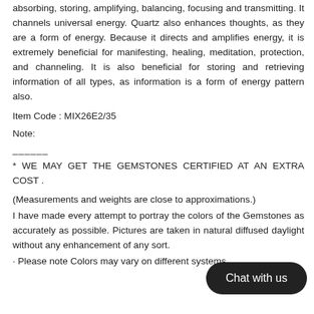absorbing, storing, amplifying, balancing, focusing and transmitting. It channels universal energy. Quartz also enhances thoughts, as they are a form of energy. Because it directs and amplifies energy, it is extremely beneficial for manifesting, healing, meditation, protection, and channeling. It is also beneficial for storing and retrieving information of all types, as information is a form of energy pattern also.
Item Code : MIX26E2/35
Note:
______
* WE MAY GET THE GEMSTONES CERTIFIED AT AN EXTRA COST .
(Measurements and weights are close to approximations.)
I have made every attempt to portray the colors of the Gemstones as accurately as possible. Pictures are taken in natural diffused daylight without any enhancement of any sort.
· Please note Colors may vary on different systems...